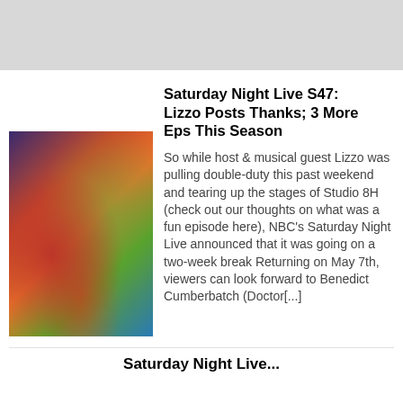[Figure (photo): Colorful SNL episode photo collage showing performers in costume on the set of Saturday Night Live, featuring Lizzo episode]
Saturday Night Live S47: Lizzo Posts Thanks; 3 More Eps This Season
So while host & musical guest Lizzo was pulling double-duty this past weekend and tearing up the stages of Studio 8H (check out our thoughts on what was a fun episode here), NBC's Saturday Night Live announced that it was going on a two-week break Returning on May 7th, viewers can look forward to Benedict Cumberbatch (Doctor[...]